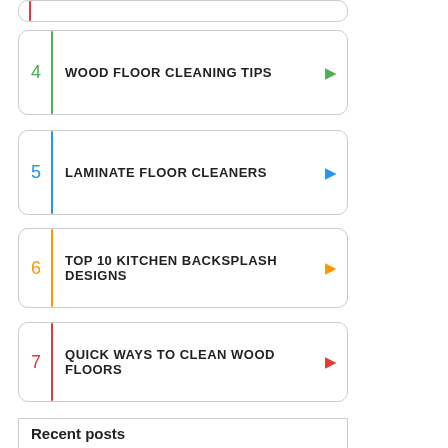4 | WOOD FLOOR CLEANING TIPS
5 | LAMINATE FLOOR CLEANERS
6 | TOP 10 KITCHEN BACKSPLASH DESIGNS
7 | QUICK WAYS TO CLEAN WOOD FLOORS
Recent posts